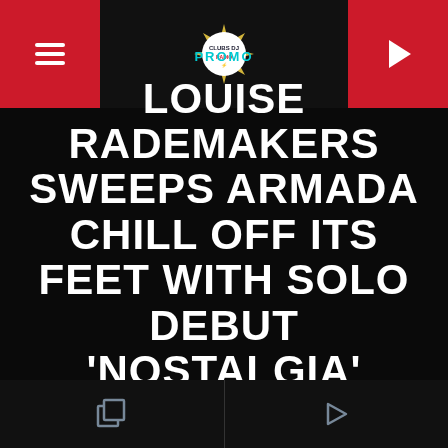[Figure (logo): Clubs DJ Radio logo in header with red side panels containing hamburger menu and play button]
PROMO
LOUISE RADEMAKERS SWEEPS ARMADA CHILL OFF ITS FEET WITH SOLO DEBUT 'NOSTALGIA'
WRITTEN BY FAB ON NOVEMBER 3, 2017